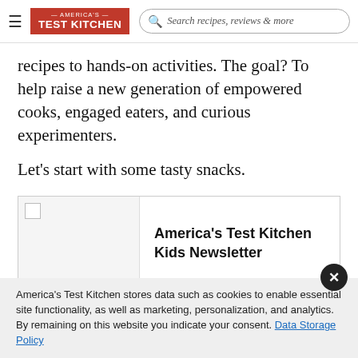America's TEST KITCHEN | Search recipes, reviews & more
recipes to hands-on activities. The goal? To help raise a new generation of empowered cooks, engaged eaters, and curious experimenters.
Let's start with some tasty snacks.
[Figure (other): America's Test Kitchen Kids Newsletter promotional card with broken image placeholder on left and bold title text on right]
America's Test Kitchen Kids Newsletter
America's Test Kitchen stores data such as cookies to enable essential site functionality, as well as marketing, personalization, and analytics. By remaining on this website you indicate your consent. Data Storage Policy